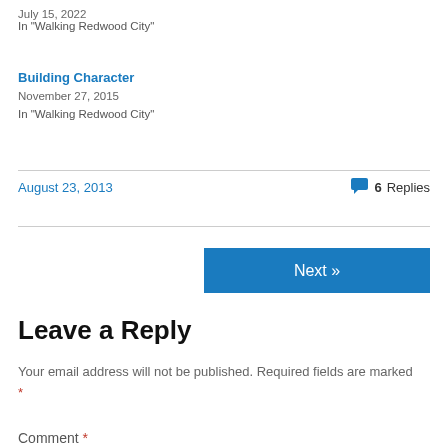July 15, 2022
In "Walking Redwood City"
Building Character
November 27, 2015
In "Walking Redwood City"
August 23, 2013
6 Replies
Next »
Leave a Reply
Your email address will not be published. Required fields are marked *
Comment *